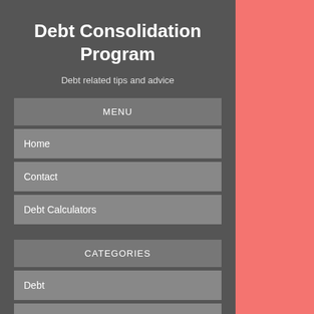Debt Consolidation Program
Debt related tips and advice
MENU
Home
Contact
Debt Calculators
CATEGORIES
Debt
Insurance
Mortgages